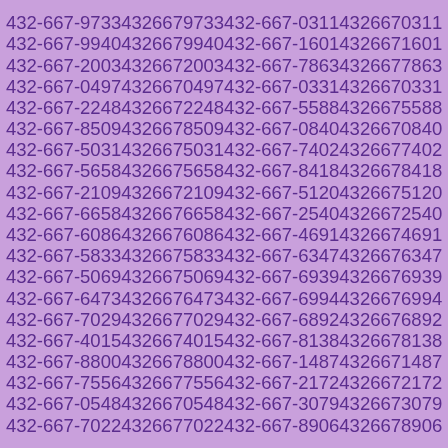432-667-9733 4326679733 432-667-0311 4326670311
432-667-9940 4326679940 432-667-1601 4326671601
432-667-2003 4326672003 432-667-7863 4326677863
432-667-0497 4326670497 432-667-0331 4326670331
432-667-2248 4326672248 432-667-5588 4326675588
432-667-8509 4326678509 432-667-0840 4326670840
432-667-5031 4326675031 432-667-7402 4326677402
432-667-5658 4326675658 432-667-8418 4326678418
432-667-2109 4326672109 432-667-5120 4326675120
432-667-6658 4326676658 432-667-2540 4326672540
432-667-6086 4326676086 432-667-4691 4326674691
432-667-5833 4326675833 432-667-6347 4326676347
432-667-5069 4326675069 432-667-6939 4326676939
432-667-6473 4326676473 432-667-6994 4326676994
432-667-7029 4326677029 432-667-6892 4326676892
432-667-4015 4326674015 432-667-8138 4326678138
432-667-8800 4326678800 432-667-1487 4326671487
432-667-7556 4326677556 432-667-2172 4326672172
432-667-0548 4326670548 432-667-3079 4326673079
432-667-7022 4326677022 432-667-8906 4326678906